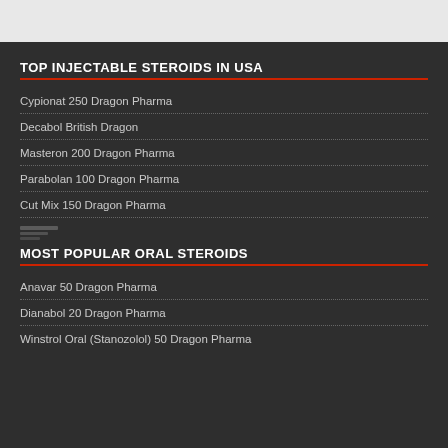TOP INJECTABLE STEROIDS IN USA
Cypionat 250 Dragon Pharma
Decabol British Dragon
Masteron 200 Dragon Pharma
Parabolan 100 Dragon Pharma
Cut Mix 150 Dragon Pharma
[Figure (other): Small illegible image or text logo]
MOST POPULAR ORAL STEROIDS
Anavar 50 Dragon Pharma
Dianabol 20 Dragon Pharma
Winstrol Oral (Stanozolol) 50 Dragon Pharma